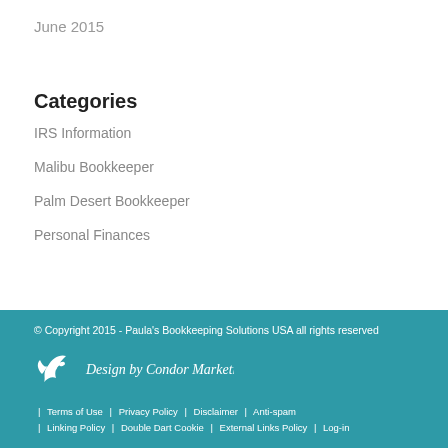June 2015
Categories
IRS Information
Malibu Bookkeeper
Palm Desert Bookkeeper
Personal Finances
© Copyright 2015 - Paula's Bookkeeping Solutions USA all rights reserved
[Figure (logo): Design by Condor Marketing logo with white bird silhouette and cursive text]
Terms of Use | Privacy Policy | Disclaimer | Anti-spam | Linking Policy | Double Dart Cookie | External Links Policy | Log-in